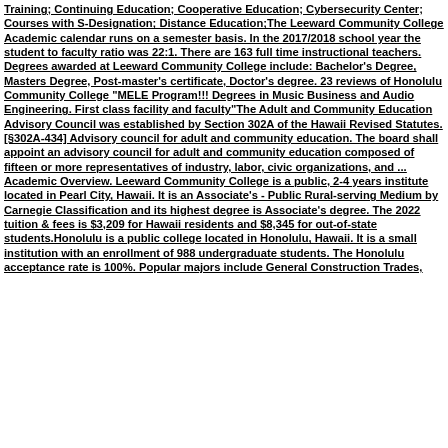Training; Continuing Education; Cooperative Education; Cybersecurity Center; Courses with S-Designation; Distance Education;The Leeward Community College Academic calendar runs on a semester basis. In the 2017/2018 school year the student to faculty ratio was 22:1. There are 163 full time instructional teachers. Degrees awarded at Leeward Community College include: Bachelor's Degree, Masters Degree, Post-master's certificate, Doctor's degree. 23 reviews of Honolulu Community College "MELE Program!!! Degrees in Music Business and Audio Engineering. First class facility and faculty"The Adult and Community Education Advisory Council was established by Section 302A of the Hawaii Revised Statutes. [§302A-434] Advisory council for adult and community education. The board shall appoint an advisory council for adult and community education composed of fifteen or more representatives of industry, labor, civic organizations, and ... Academic Overview. Leeward Community College is a public, 2-4 years institute located in Pearl City, Hawaii. It is an Associate's - Public Rural-serving Medium by Carnegie Classification and its highest degree is Associate's degree. The 2022 tuition & fees is $3,209 for Hawaii residents and $8,345 for out-of-state students.Honolulu is a public college located in Honolulu, Hawaii. It is a small institution with an enrollment of 988 undergraduate students. The Honolulu acceptance rate is 100%. Popular majors include General Construction Trades,